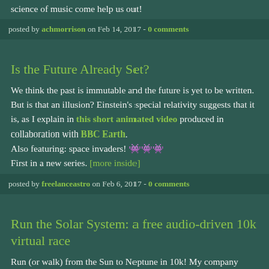science of music come help us out!
posted by achmorrison on Feb 14, 2017 - 0 comments
Is the Future Already Set?
We think the past is immutable and the future is yet to be written. But is that an illusion? Einstein's special relativity suggests that it is, as I explain in this short animated video produced in collaboration with BBC Earth.
Also featuring: space invaders! 👾👾👾
First in a new series. [more inside]
posted by freelanceastro on Feb 6, 2017 - 0 comments
Run the Solar System: a free audio-driven 10k virtual race
Run (or walk) from the Sun to Neptune in 10k! My company